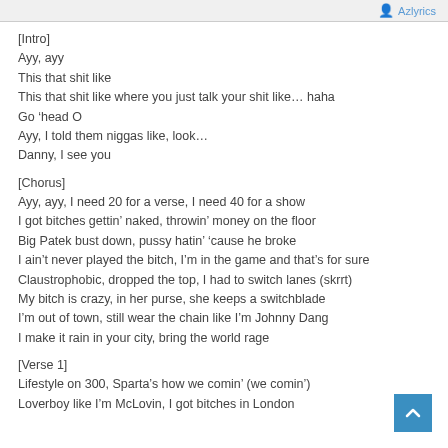Azlyrics
[Intro]
Ayy, ayy
This that shit like
This that shit like where you just talk your shit like… haha
Go ‘head O
Ayy, I told them niggas like, look…
Danny, I see you
[Chorus]
Ayy, ayy, I need 20 for a verse, I need 40 for a show
I got bitches gettin’ naked, throwin’ money on the floor
Big Patek bust down, pussy hatin’ ‘cause he broke
I ain’t never played the bitch, I’m in the game and that’s for sure
Claustrophobic, dropped the top, I had to switch lanes (skrrt)
My bitch is crazy, in her purse, she keeps a switchblade
I’m out of town, still wear the chain like I’m Johnny Dang
I make it rain in your city, bring the world rage
[Verse 1]
Lifestyle on 300, Sparta’s how we comin’ (we comin’)
Loverboy like I’m McLovin, I got bitches in London